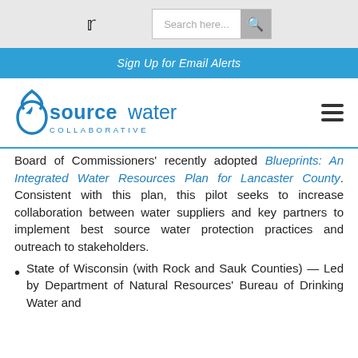Twitter icon | Search here... | Search button
Sign Up for Email Alerts
[Figure (logo): Source Water Collaborative logo with water drop icon and hamburger menu icon]
Board of Commissioners' recently adopted Blueprints: An Integrated Water Resources Plan for Lancaster County. Consistent with this plan, this pilot seeks to increase collaboration between water suppliers and key partners to implement best source water protection practices and outreach to stakeholders.
State of Wisconsin (with Rock and Sauk Counties) — Led by Department of Natural Resources' Bureau of Drinking Water and